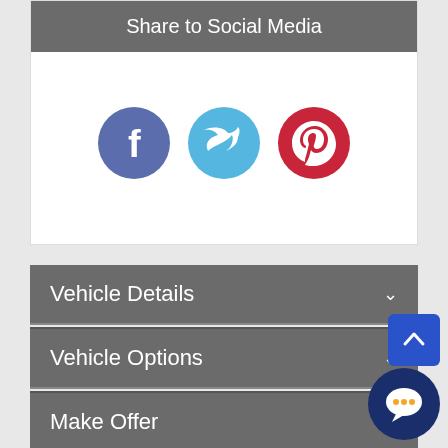Share to Social Media
[Figure (illustration): Three social media icons: Facebook (blue circle with f), Twitter (light blue circle with bird), Pinterest (red circle with p)]
Vehicle Details
Vehicle Options
Make Offer
2013 Buick Encore FWD 4dr Convenience